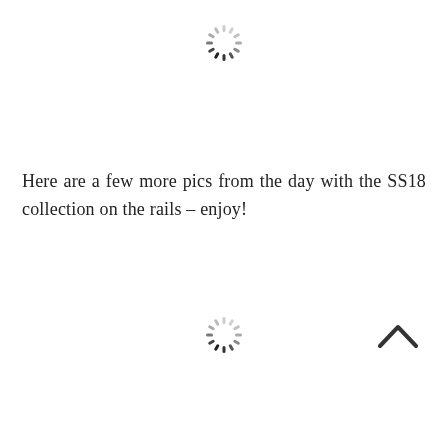[Figure (other): Loading spinner icon (circular dashed/segmented ring) at top center]
Here are a few more pics from the day with the SS18 collection on the rails – enjoy!
[Figure (other): Loading spinner icon (circular dashed/segmented ring) at bottom center]
[Figure (other): Chevron/caret up arrow icon at bottom right]